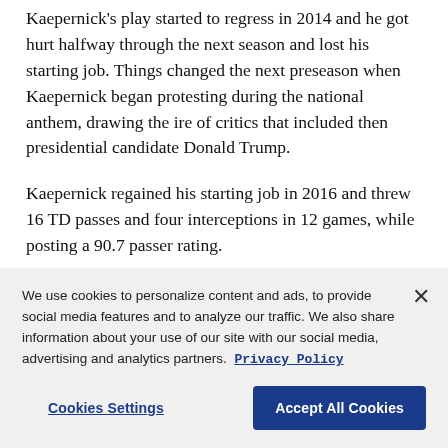Kaepernick's play started to regress in 2014 and he got hurt halfway through the next season and lost his starting job. Things changed the next preseason when Kaepernick began protesting during the national anthem, drawing the ire of critics that included then presidential candidate Donald Trump.
Kaepernick regained his starting job in 2016 and threw 16 TD passes and four interceptions in 12 games, while posting a 90.7 passer rating.
We use cookies to personalize content and ads, to provide social media features and to analyze our traffic. We also share information about your use of our site with our social media, advertising and analytics partners. Privacy Policy